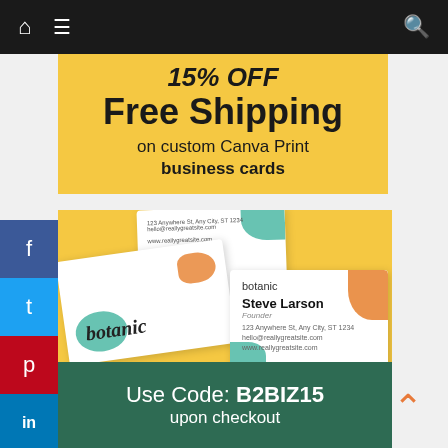Navigation bar with home, menu, and search icons
[Figure (illustration): Promotional banner with yellow background showing '15% OFF Free Shipping on custom Canva Print business cards' text, with botanic-branded business cards displayed below]
15% OFF
Free Shipping
on custom Canva Print business cards
Use Code: B2BIZ15
upon checkout